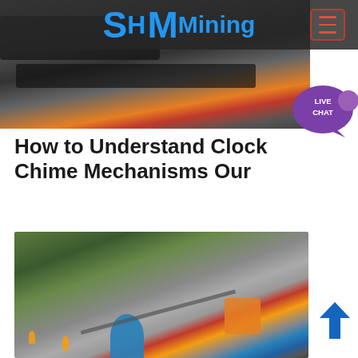SH MMining
[Figure (photo): Industrial mining machinery close-up showing conveyor belt and orange/red mechanical components]
[Figure (other): Live Chat bubble icon in purple]
How to Understand Clock Chime Mechanisms Our
Check in back of the pendulum for the weights which will be near the chimes The weights help to keep the chimes balanced and ensure that the clock will work effectively Look inside the
Click to chat
[Figure (photo): Outdoor mining site with workers, cranes, blue cone crusher, orange jaw crusher, and conveyor belts on hillside]
[Figure (other): Blue arrow pointing upward (back to top button)]